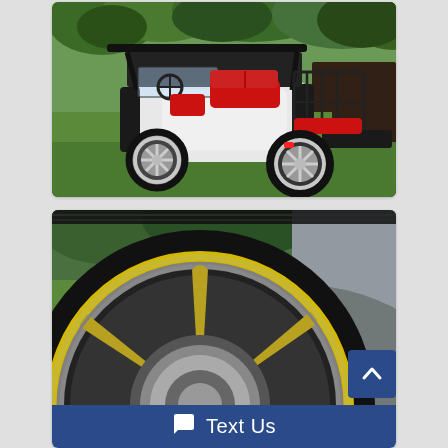[Figure (photo): Custom golf cart with black and white body, red upholstered seats, chrome wheels, parked on green grass with trees in the background. The cart has a rear-facing back seat and a rear cargo step.]
[Figure (photo): Close-up of a large chrome alloy wheel with low-profile black tire on a golf cart, showing chrome five-spoke wheel design. Green grass and trees visible in background.]
Text Us